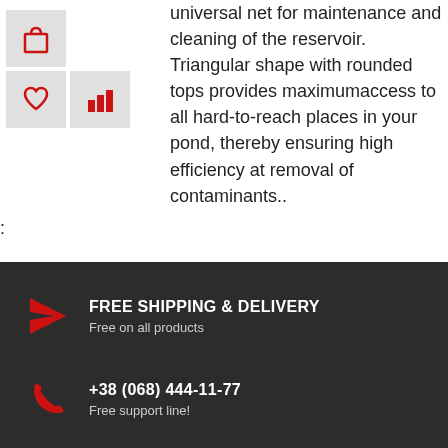[Figure (illustration): Three red icon boxes on light grey backgrounds: shopping bag icon, heart/wishlist icon, and bar chart icon]
universal net for maintenance and cleaning of the reservoir. Triangular shape with rounded tops provides maximumaccess to all hard-to-reach places in your pond, thereby ensuring high efficiency at removal of contaminants..
FREE SHIPPING & DELIVERY
Free on all products
+38 (068) 444-11-77
Free support line!